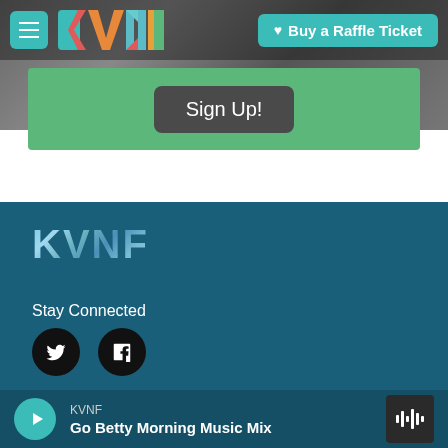KVNF | Buy a Raffle Ticket
Sign Up!
[Figure (logo): KVNF logo in teal/blue gradient lettering in footer]
Stay Connected
[Figure (illustration): Twitter and Facebook social media icon circles (black background, white icons)]
© 2022 KVNF Public Radio
KVNF
Go Betty Morning Music Mix